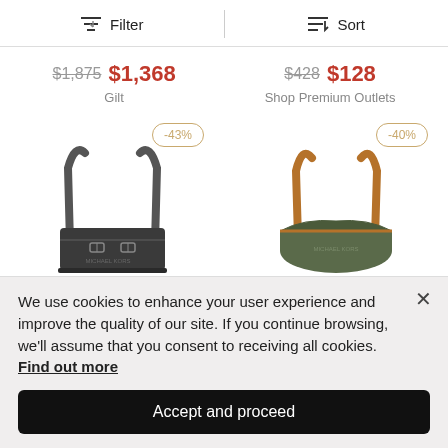Filter | Sort
$1,875 $1,368 Gilt
$428 $128 Shop Premium Outlets
[Figure (photo): Black leather tote bag with double handles and buckle details, -43% discount badge]
[Figure (photo): Olive green tote bag with tan leather handles, -40% discount badge]
We use cookies to enhance your user experience and improve the quality of our site. If you continue browsing, we'll assume that you consent to receiving all cookies. Find out more
Accept and proceed